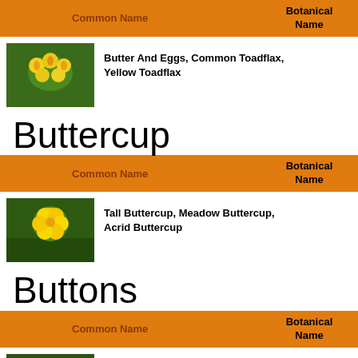| Common Name | Botanical Name |
| --- | --- |
| Butter And Eggs, Common Toadflax, Yellow Toadflax |  |
Buttercup
| Common Name | Botanical Name |
| --- | --- |
| Tall Buttercup, Meadow Buttercup, Acrid Buttercup |  |
Buttons
| Common Name | Botanical Name |
| --- | --- |
| Toothache Plant, Paracress, Electric Daisy, Electric Buttons, Buzz Buttons, Peek-A-Boo, Eyeball Plant |  |